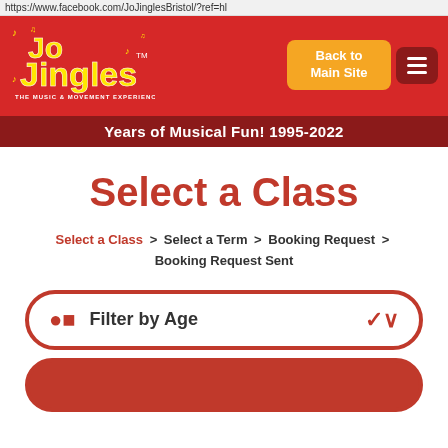https://www.facebook.com/JoJinglesBristol/?ref=hl
[Figure (logo): Jo Jingles logo - yellow bubbly text on red background with music notes and tagline 'The Music & Movement Experience']
Back to Main Site
Years of Musical Fun! 1995-2022
Select a Class
Select a Class > Select a Term > Booking Request > Booking Request Sent
Filter by Age